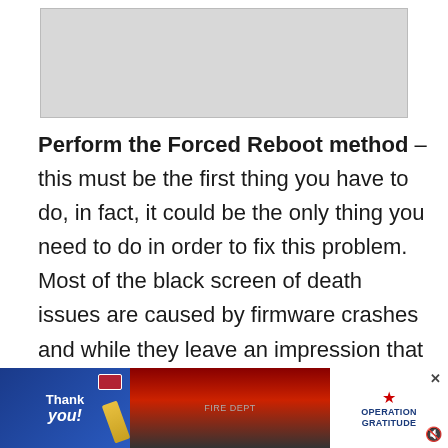[Figure (other): Gray placeholder image area at top of page]
Perform the Forced Reboot method – this must be the first thing you have to do, in fact, it could be the only thing you need to do in order to fix this problem. Most of the black screen of death issues are caused by firmware crashes and while they leave an impression that the phone has a serious hardware problem, that's not always the case and you can
[Figure (infographic): Advertisement banner at bottom: Thank you message with Operation Gratitude logo and firefighters image]